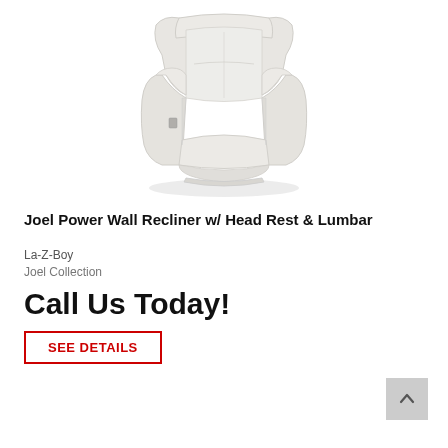[Figure (photo): A white/cream colored La-Z-Boy Joel Power Wall Recliner chair with head rest and lumbar support, shown in a 3/4 front view on a white background.]
Joel Power Wall Recliner w/ Head Rest & Lumbar
La-Z-Boy
Joel Collection
Call Us Today!
SEE DETAILS